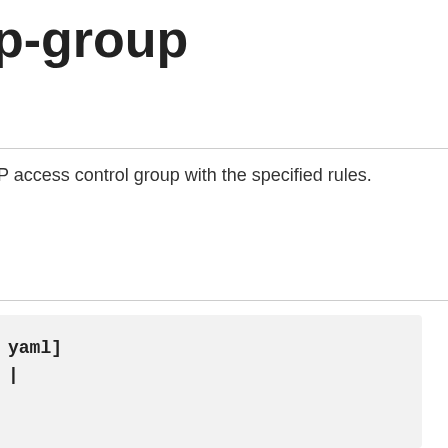p-group
IP access control group with the specified rules.
yaml]
|